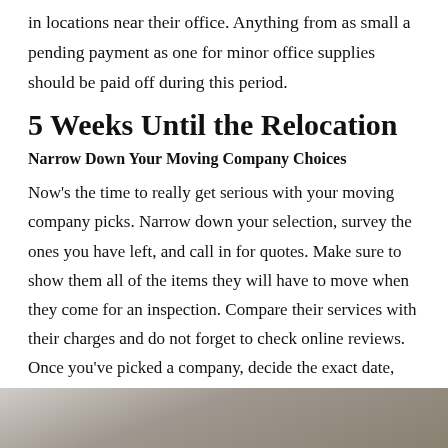in locations near their office. Anything from as small a pending payment as one for minor office supplies should be paid off during this period.
5 Weeks Until the Relocation
Narrow Down Your Moving Company Choices
Now’s the time to really get serious with your moving company picks. Narrow down your selection, survey the ones you have left, and call in for quotes. Make sure to show them all of the items they will have to move when they come for an inspection. Compare their services with their charges and do not forget to check online reviews. Once you’ve picked a company, decide the exact date, time, charges, and all other details.
1 Month Until the Relocation
Notify Important Authorities/People
[Figure (photo): Partial photograph visible at the bottom of the page showing people or a scene, cropped.]